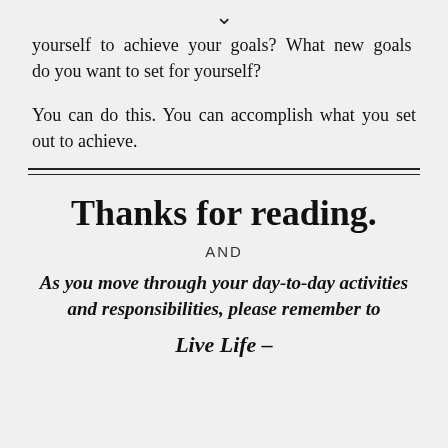yourself to achieve your goals? What new goals do you want to set for yourself?
You can do this. You can accomplish what you set out to achieve.
Thanks for reading.
AND
As you move through your day-to-day activities and responsibilities, please remember to
Live Life –